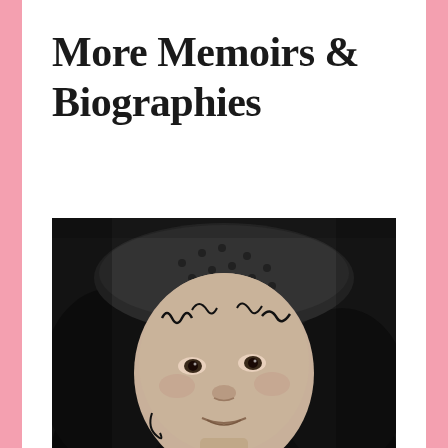More Memoirs & Biographies
[Figure (photo): Black and white close-up portrait photograph of a young woman with curly hair, wearing a patterned headband/hat, with styled curls framing her face]